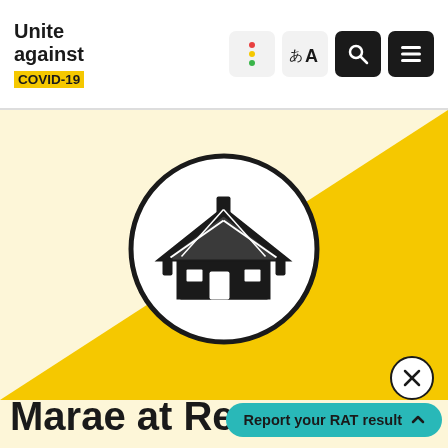[Figure (logo): Unite against COVID-19 logo with text and COVID-19 in yellow badge]
[Figure (illustration): Website navigation icons: vertical dots menu, language selector (あA), search icon, hamburger menu — on light and dark backgrounds]
[Figure (illustration): Hero banner with pale yellow background, diagonal golden yellow triangle, and central circular icon of a Marae (traditional Māori meeting house) in black on white circle]
Report your RAT result
Marae at Red... (partially visible)